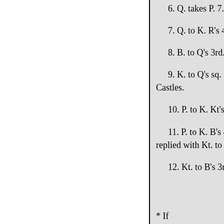5. Kt. takes B. or P. takes Kt.
6. Q. takes P. 7. Kt. to B's 3rd.
7. Q. to K. R's 4th. 8. P. to Q's
8. B. to Q's 3rd. 9. Q. to K's 2n
9. K. to Q's sq. Best. The King Castles.
10. P. to K. Kt's 4th. 11. Q. to
11. P. to K. B's 4th. Much bett replied with Kt. to K's 5th. 12. Q
12. Kt. to B's 3rd. 13. Kt. to K
* If
6. Castles. 7. K. Kt. to K's 2nd
7. P. to B's 3rd. 8. B. to Kt's 3r
8. B. to Kt's 5th. 9. Q. takes P.
9. B. takes K's Kt. 10. Kt. take
10. R. to K's sq. 11. P. to K's 5
11. Q. to K's 2nd. 12. P. to B's